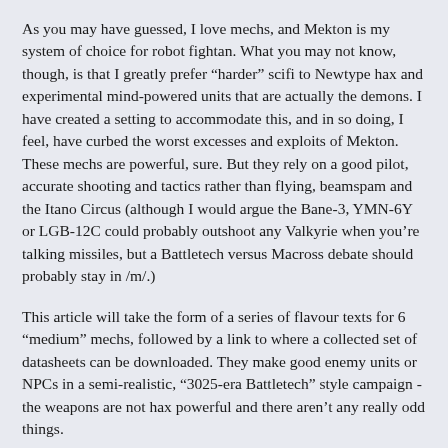As you may have guessed, I love mechs, and Mekton is my system of choice for robot fightan. What you may not know, though, is that I greatly prefer "harder" scifi to Newtype hax and experimental mind-powered units that are actually the demons. I have created a setting to accommodate this, and in so doing, I feel, have curbed the worst excesses and exploits of Mekton. These mechs are powerful, sure. But they rely on a good pilot, accurate shooting and tactics rather than flying, beamspam and the Itano Circus (although I would argue the Bane-3, YMN-6Y or LGB-12C could probably outshoot any Valkyrie when you’re talking missiles, but a Battletech versus Macross debate should probably stay in /m/.)
This article will take the form of a series of flavour texts for 6 “medium” mechs, followed by a link to where a collected set of datasheets can be downloaded. They make good enemy units or NPCs in a semi-realistic, “3025-era Battletech” style campaign - the weapons are not hax powerful and there aren’t any really odd things.
Read More...